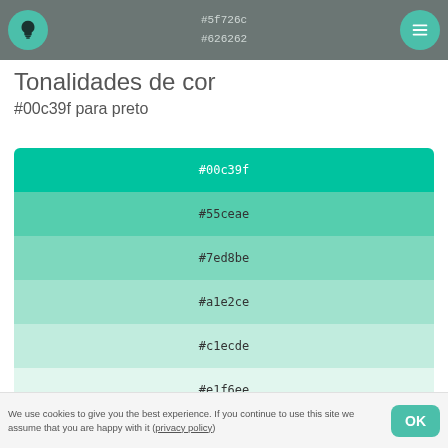#5f726c
#626262
Tonalidades de cor
#00c39f para preto
[Figure (infographic): Color swatches showing tonal progression from #00c39f to white: #00c39f, #55ceae, #7ed8be, #a1e2ce, #c1ecde, #e1f6ee]
#ffffff / #fff
We use cookies to give you the best experience. If you continue to use this site we assume that you are happy with it (privacy policy)